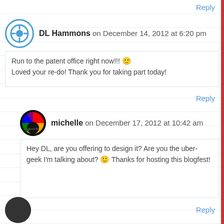Reply
DL Hammons on December 14, 2012 at 6:20 pm
Run to the patent office right now!!! 🙂 Loved your re-do! Thank you for taking part today!
Reply
michelle on December 17, 2012 at 10:42 am
Hey DL, are you offering to design it? Are you the uber-geek I'm talking about? 🙂 Thanks for hosting this blogfest!
Reply